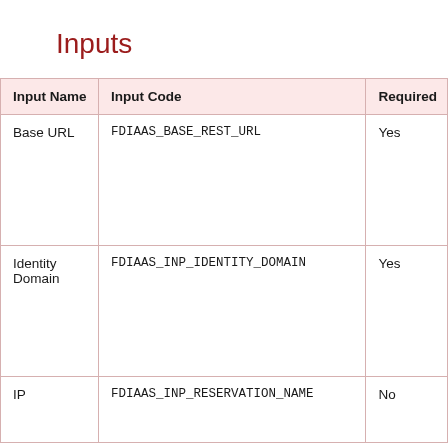Inputs
| Input Name | Input Code | Required |
| --- | --- | --- |
| Base URL | FDIAAS_BASE_REST_URL | Yes |
| Identity Domain | FDIAAS_INP_IDENTITY_DOMAIN | Yes |
| IP | FDIAAS_INP_RESERVATION_NAME | No |